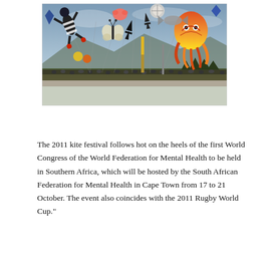[Figure (photo): Outdoor kite festival photograph showing numerous colorful kites of various shapes (including humanoid, octopus, butterfly, and abstract forms) flying in a cloudy sky above a large crowd of people gathered on a field, with mountains and trees visible in the background.]
The 2011 kite festival follows hot on the heels of the first World Congress of the World Federation for Mental Health to be held in Southern Africa, which will be hosted by the South African Federation for Mental Health in Cape Town from 17 to 21 October.  The event also coincides with the 2011 Rugby World Cup."